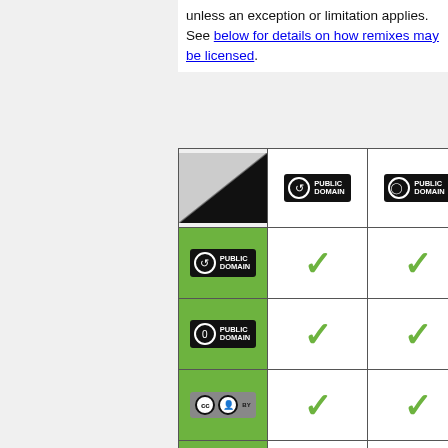unless an exception or limitation applies. See below for details on how remixes may be licensed.
[Figure (table-as-image): Compatibility matrix table showing Creative Commons license compatibility. Rows are source licenses (CC0 Public Domain Mark, CC0, CC BY, CC BY-SA, CC BY-NC, CC BY-ND). Columns are target licenses (Public Domain Mark, CC0). Green checkmarks indicate compatibility, black X marks indicate incompatibility.]